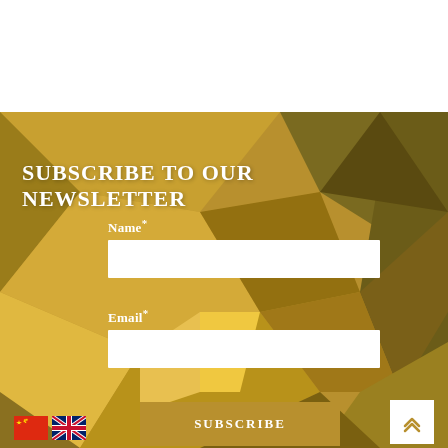[Figure (illustration): Abstract gold geometric polygon background with faceted triangular shapes in various shades of gold, amber, and dark olive.]
SUBSCRIBE TO OUR NEWSLETTER
Name*
Email*
SUBSCRIBE
[Figure (illustration): Chinese flag and UK flag icons side by side in bottom left corner.]